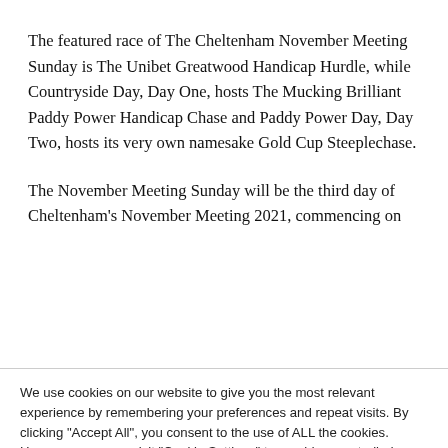The featured race of The Cheltenham November Meeting Sunday is The Unibet Greatwood Handicap Hurdle, while Countryside Day, Day One, hosts The Mucking Brilliant Paddy Power Handicap Chase and Paddy Power Day, Day Two, hosts its very own namesake Gold Cup Steeplechase.
The November Meeting Sunday will be the third day of Cheltenham's November Meeting 2021, commencing on
We use cookies on our website to give you the most relevant experience by remembering your preferences and repeat visits. By clicking "Accept All", you consent to the use of ALL the cookies. However, you may visit "Cookie Settings" to provide a controlled consent.